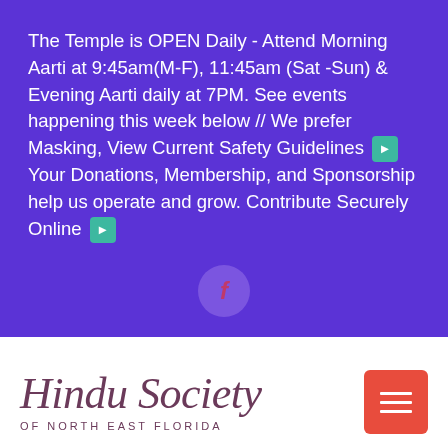The Temple is OPEN Daily - Attend Morning Aarti at 9:45am(M-F), 11:45am (Sat -Sun) & Evening Aarti daily at 7PM. See events happening this week below // We prefer Masking, View Current Safety Guidelines ▶ Your Donations, Membership, and Sponsorship help us operate and grow. Contribute Securely Online ▶
[Figure (logo): Facebook icon circle]
[Figure (logo): Hindu Society of North East Florida logo with script text and hamburger menu button]
UPDATES FROM